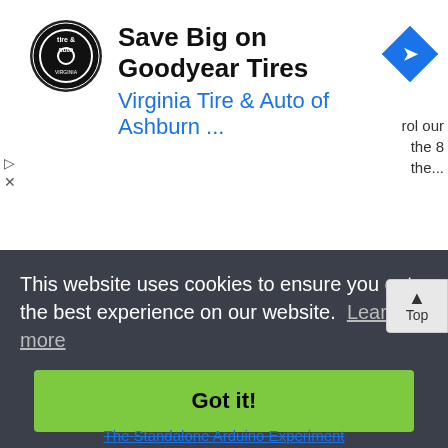[Figure (infographic): Advertisement banner for Virginia Tire & Auto of Ashburn featuring Goodyear Tires promotion with logo and navigation icon]
[Figure (circuit-diagram): Electronic circuit schematic showing a microprocessor connected to data bus lines (DB0-DB7), an A/D converter, analog input connections including Vref+, Vref-, and control lines, with 8-bit resolution annotation on right side]
rol our the 8 the...
This website uses cookies to ensure you get the best experience on our website.  Learn more
Got it!
The Standalone Arduino Experiment